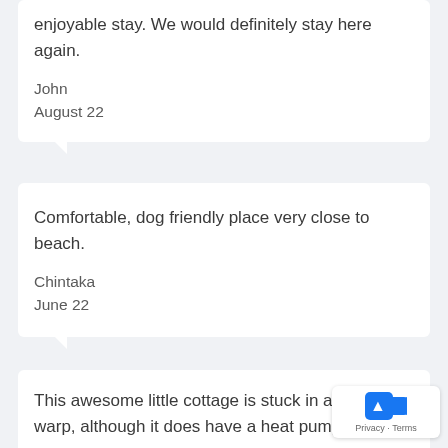enjoyable stay. We would definitely stay here again.
John
August 22
Comfortable, dog friendly place very close to beach.
Chintaka
June 22
This awesome little cottage is stuck in a time warp, although it does have a heat pump which